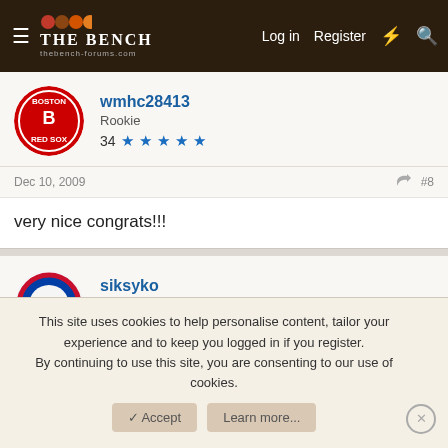THE BENCH | Log in | Register
wmhc28413
Rookie
34 ★★★★★
Dec 10, 2009  #8
very nice congrats!!!
siksyko
Rookie
28 ★★★★★
Dec 10, 2009  #9
This site uses cookies to help personalise content, tailor your experience and to keep you logged in if you register.
By continuing to use this site, you are consenting to our use of cookies.